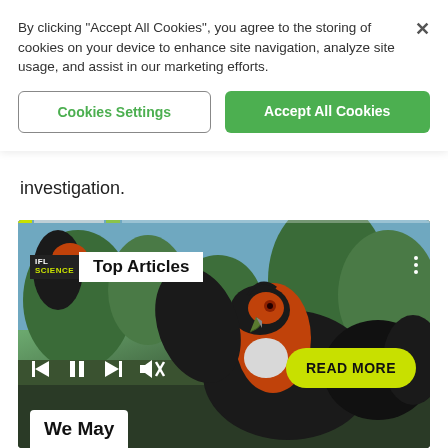By clicking “Accept All Cookies”, you agree to the storing of cookies on your device to enhance site navigation, analyze site usage, and assist in our marketing efforts.
Cookies Settings
Accept All Cookies
investigation.
[Figure (screenshot): IFL Science website screenshot showing a video player with a large bird (cassowary-like) and overlaid controls including prev/play/next/mute buttons, a Top Articles label, a READ MORE button, and a We May caption at the bottom.]